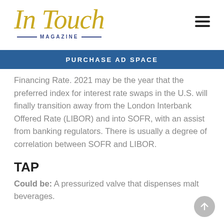In Touch MAGAZINE
PURCHASE AD SPACE
Financing Rate. 2021 may be the year that the preferred index for interest rate swaps in the U.S. will finally transition away from the London Interbank Offered Rate (LIBOR) and into SOFR, with an assist from banking regulators. There is usually a degree of correlation between SOFR and LIBOR.
TAP
Could be: A pressurized valve that dispenses malt beverages.